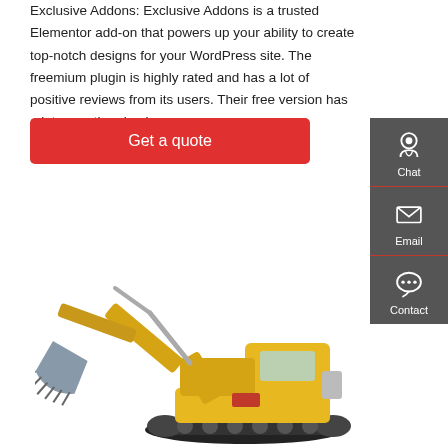Exclusive Addons: Exclusive Addons is a trusted Elementor add-on that powers up your ability to create top-notch designs for your WordPress site. The freemium plugin is highly rated and has a lot of positive reviews from its users. Their free version has a lot more than basics.
Get a quote
[Figure (infographic): Dark gray sidebar with chat, email, and contact icons and labels]
[Figure (photo): Yellow construction excavator/digger on white background]